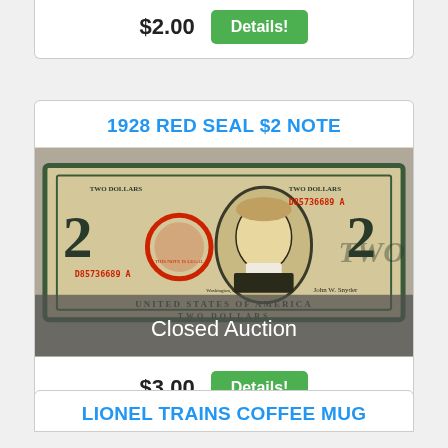$2.00
Details!
1928 RED SEAL $2 NOTE
[Figure (photo): Photograph of a 1928 Red Seal $2 United States Note with serial number D85736689A, showing a portrait of Thomas Jefferson, a red seal, and the text 'TWO DOLLARS' and 'UNITED STATES OF AMERICA'. Overlay text reads 'Closed Auction'.]
Closed Auction
$3.00
Details!
LIONEL TRAINS COFFEE MUG